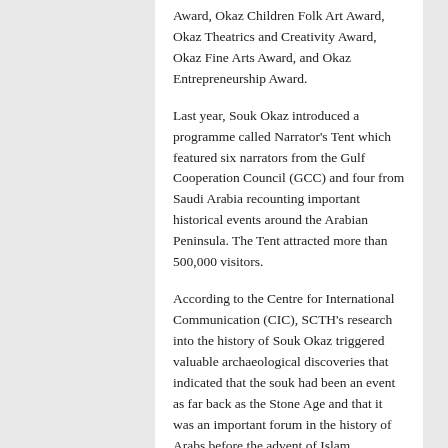Award, Okaz Children Folk Art Award, Okaz Theatrics and Creativity Award, Okaz Fine Arts Award, and Okaz Entrepreneurship Award.
Last year, Souk Okaz introduced a programme called Narrator's Tent which featured six narrators from the Gulf Cooperation Council (GCC) and four from Saudi Arabia recounting important historical events around the Arabian Peninsula. The Tent attracted more than 500,000 visitors.
According to the Centre for International Communication (CIC), SCTH's research into the history of Souk Okaz triggered valuable archaeological discoveries that indicated that the souk had been an event as far back as the Stone Age and that it was an important forum in the history of Arabs before the advent of Islam.
Rich history of Souk Okaz
Souk Okaz has historically been a meeting